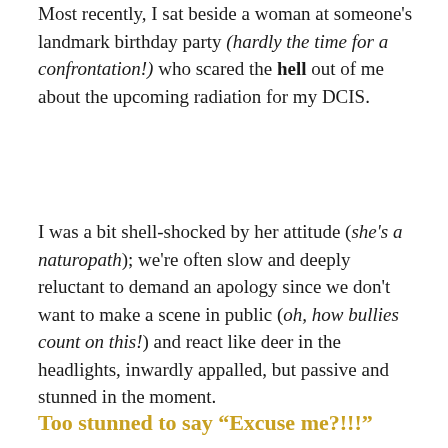Most recently, I sat beside a woman at someone's landmark birthday party (hardly the time for a confrontation!) who scared the hell out of me about the upcoming radiation for my DCIS.
I was a bit shell-shocked by her attitude (she's a naturopath); we're often slow and deeply reluctant to demand an apology since we don't want to make a scene in public (oh, how bullies count on this!) and react like deer in the headlights, inwardly appalled, but passive and stunned in the moment.
Too stunned to say “Excuse me?!!!”